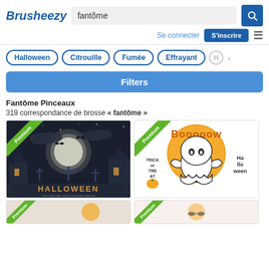Brusheezy
fantôme
Se connecter   S'inscrire
Halloween
Citrouille
Fumée
Effrayant
Filters
Fantôme Pinceaux
319 correspondance de brosse « fantôme »
[Figure (screenshot): Halloween night scene with graveyard, church, bats, and full moon. Text reads HALLOWEEN. Premium badge in corner.]
[Figure (illustration): Cute ghost with Booooow text, Trick or Treat and Halloween text around it. Orange circle background. Premium badge in corner.]
[Figure (screenshot): Partial view of another image with Premium badge, partially cut off at bottom.]
[Figure (screenshot): Partial view of another image with Premium badge, partially cut off at bottom.]